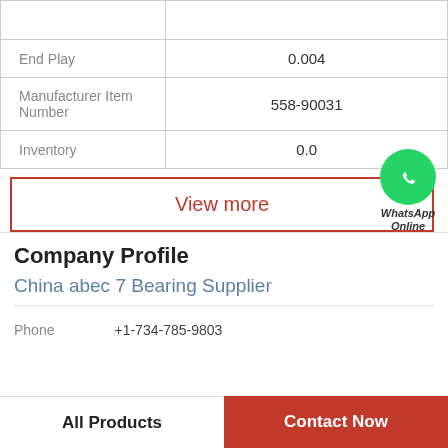| Property | Value |
| --- | --- |
|  |  |
| End Play | 0.004 |
| Manufacturer Item Number | 558-90031 |
| Inventory | 0.0 |
View more
[Figure (logo): WhatsApp green circle icon with phone handset, labeled 'WhatsApp Online' in italic bold text]
Company Profile
China abec 7 Bearing Supplier
Phone   +1-734-785-9803
All Products
Contact Now